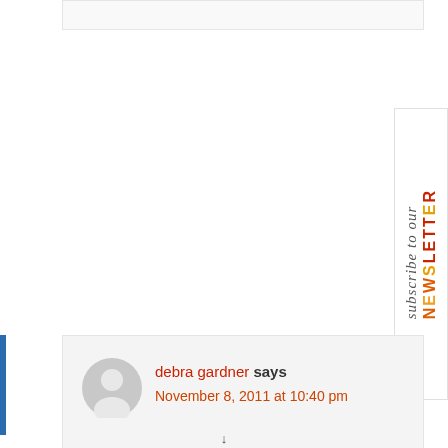[Figure (other): Top portion of a comment input box, light grey background with border]
[Figure (other): Subscribe to our Newsletter widget displayed vertically on the right side, with cursive 'subscribe to our' text and bold colored 'NEWSLETTER' text]
[Figure (other): User avatar circle with generic person silhouette icon in grey]
debra gardner says
November 8, 2011 at 10:40 pm